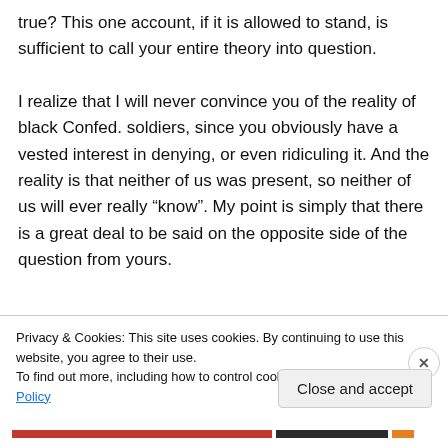true? This one account, if it is allowed to stand, is sufficient to call your entire theory into question. I realize that I will never convince you of the reality of black Confed. soldiers, since you obviously have a vested interest in denying, or even ridiculing it. And the reality is that neither of us was present, so neither of us will ever really “know”. My point is simply that there is a great deal to be said on the opposite side of the question from yours.
Privacy & Cookies: This site uses cookies. By continuing to use this website, you agree to their use. To find out more, including how to control cookies, see here: Cookie Policy